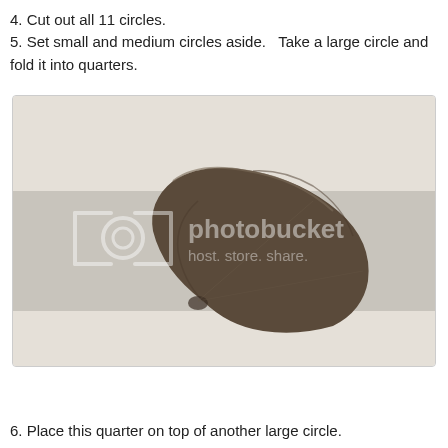4. Cut out all 11 circles.
5. Set small and medium circles aside.   Take a large circle and fold it into quarters.
[Figure (photo): A dark brown fabric circle folded into quarters, sitting on a two-toned surface (beige top/bottom, gray middle). A Photobucket watermark reading '[o] photobucket host. store. share.' is overlaid on the image.]
6. Place this quarter on top of another large circle.